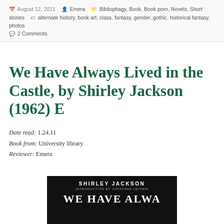August 12, 2011  Emera  Bibliophagy, Book, Book porn, Novels, Short stories  alternate history, book art, class, fantasy, gender, gothic, historical fantasy, photos  2 Comments
We Have Always Lived in the Castle, by Shirley Jackson (1962) E
Date read: 1.24.11
Book from: University library
Reviewer: Emera
[Figure (photo): Book cover of 'We Have Always Lived in the Castle' by Shirley Jackson — dark/black background with white text showing author name SHIRLEY JACKSON at top, introduction by Jonathan Lethem below, and partial title WE HAVE ALWA... at bottom in arch lettering]